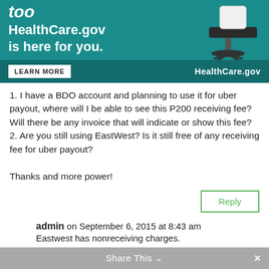[Figure (illustration): HealthCare.gov advertisement banner with teal background, italic bold 'too' text, 'HealthCare.gov is here for you.' heading, a chair image on the right, and a dark teal bottom bar with a 'LEARN MORE' button and 'HealthCare.gov' URL.]
1. I have a BDO account and planning to use it for uber payout, where will I be able to see this P200 receiving fee? Will there be any invoice that will indicate or show this fee?
2. Are you still using EastWest? Is it still free of any receiving fee for uber payout?

Thanks and more power!
Reply
admin on September 6, 2015 at 8:43 am
Eastwest has nonreceiving charges.
Share This ×